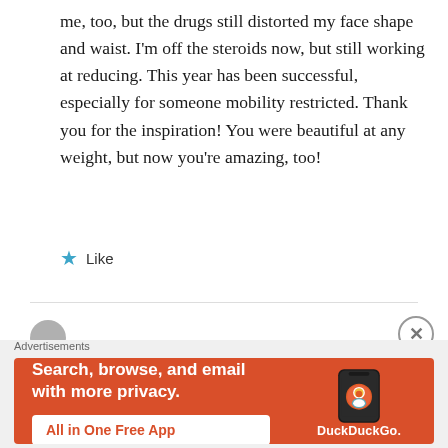me, too, but the drugs still distorted my face shape and waist. I'm off the steroids now, but still working at reducing. This year has been successful, especially for someone mobility restricted. Thank you for the inspiration! You were beautiful at any weight, but now you're amazing, too!
★ Like
[Figure (screenshot): DuckDuckGo advertisement banner: orange background with text 'Search, browse, and email with more privacy. All in One Free App' and a phone graphic with DuckDuckGo logo and name.]